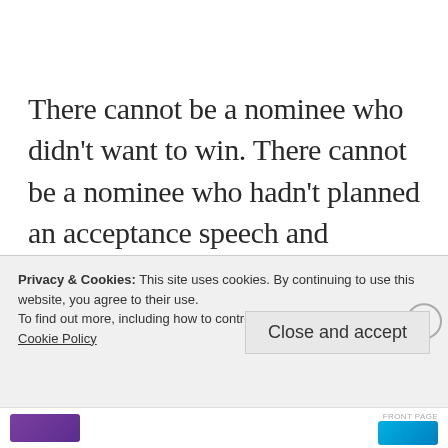There cannot be a nominee who didn't want to win. There cannot be a nominee who hadn't planned an acceptance speech and imagined himself delivering it. And, watching the Oscar winner thanking the world and his pet for making this possible, there can't be a nominee
Privacy & Cookies: This site uses cookies. By continuing to use this website, you agree to their use.
To find out more, including how to control cookies, see here:
Cookie Policy
Close and accept